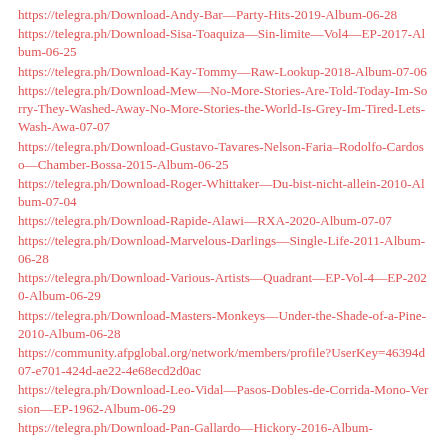https://telegra.ph/Download-Andy-Bar—Party-Hits-2019-Album-06-28
https://telegra.ph/Download-Sisa-Toaquiza—Sin-limite—Vol4—EP-2017-Album-06-25
https://telegra.ph/Download-Kay-Tommy—Raw-Lookup-2018-Album-07-06
https://telegra.ph/Download-Mew—No-More-Stories-Are-Told-Today-Im-Sorry-They-Washed-Away-No-More-Stories-the-World-Is-Grey-Im-Tired-Lets-Wash-Awa-07-07
https://telegra.ph/Download-Gustavo-Tavares-Nelson-Faria–Rodolfo-Cardoso—Chamber-Bossa-2015-Album-06-25
https://telegra.ph/Download-Roger-Whittaker—Du-bist-nicht-allein-2010-Album-07-04
https://telegra.ph/Download-Rapide-Alawi—RXA-2020-Album-07-07
https://telegra.ph/Download-Marvelous-Darlings—Single-Life-2011-Album-06-28
https://telegra.ph/Download-Various-Artists—Quadrant—EP-Vol-4—EP-2020-Album-06-29
https://telegra.ph/Download-Masters-Monkeys—Under-the-Shade-of-a-Pine-2010-Album-06-28
https://community.afpglobal.org/network/members/profile?UserKey=46394d07-e701-424d-ae22-4e68ecd2d0ac
https://telegra.ph/Download-Leo-Vidal—Pasos-Dobles-de-Corrida-Mono-Version—EP-1962-Album-06-29
https://telegra.ph/Download-Pan-Gallardo—Hickory-2016-Album-...